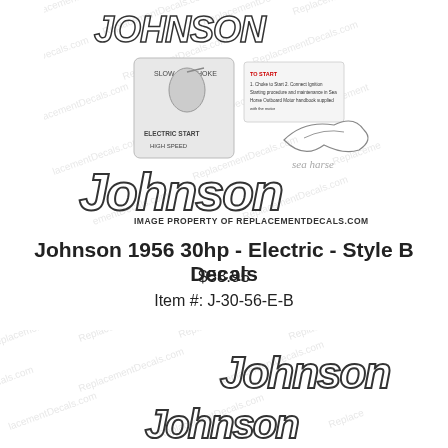[Figure (photo): Product image showing Johnson 1956 30hp Electric Style B decals set with watermark overlay from ReplacementDecals.com. Shows multiple decal pieces including Johnson italic script logos, engine decals with controls diagram, and a sea horse logo.]
Johnson 1956 30hp - Electric - Style B Decals
$58.95
Item #: J-30-56-E-B
[Figure (photo): Bottom portion showing two Johnson italic script decal logos with watermark overlay from ReplacementDecals.com.]